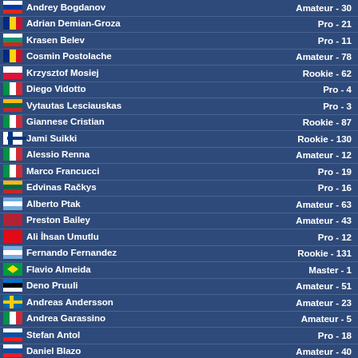| Name | Category - Rank |
| --- | --- |
| Andrey Bogdanov | Amateur - 30 |
| Adrian Demian-Groza | Pro - 21 |
| Krasen Belev | Pro - 11 |
| Cosmin Postolache | Amateur - 78 |
| Krzysztof Mosiej | Rookie - 62 |
| Diego Vidotto | Pro - 4 |
| Vytautas Lesciauskas | Pro - 3 |
| Giannese Cristian | Rookie - 87 |
| Jami Suikki | Rookie - 130 |
| Alessio Renna | Amateur - 12 |
| Marco Francucci | Pro - 19 |
| Edvinas Račkys | Pro - 16 |
| Alberto Ptak | Amateur - 63 |
| Preston Bailey | Amateur - 43 |
| Ali İhsan Umutlu | Pro - 12 |
| Fernando Fernandez | Rookie - 131 |
| Flavio Almeida | Master - 1 |
| Deno Pruuli | Amateur - 51 |
| Andreas Andersson | Amateur - 23 |
| Andrea Garassino | Amateur - 5 |
| Stefan Antol | Pro - 18 |
| Daniel Blazo | Amateur - 40 |
| Andres Duffey | Rookie - 41 |
| Felipe Seolin | Master - 1 |